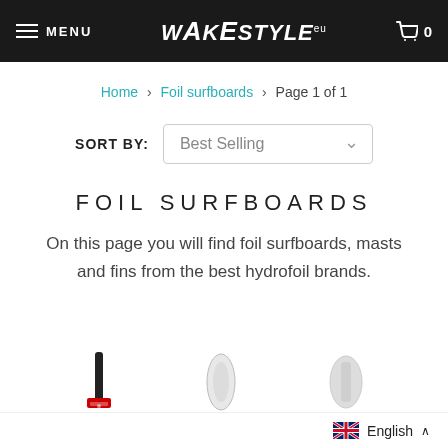MENU | WAKESTYLE.eu | 0
Home > Foil surfboards > Page 1 of 1
SORT BY: Best Selling
FOIL SURFBOARDS
On this page you will find foil surfboards, masts and fins from the best hydrofoil brands.
[Figure (photo): Partial product images of foil surfboard equipment at the bottom of the page]
English